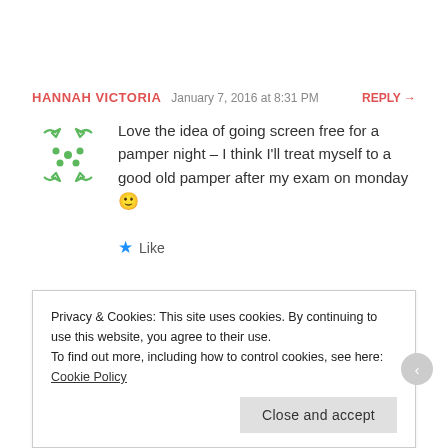HANNAH VICTORIA   January 7, 2016 at 8:31 PM   REPLY →
[Figure (illustration): Circular green arrow icon / avatar for Hannah Victoria]
Love the idea of going screen free for a pamper night – I think I'll treat myself to a good old pamper after my exam on monday 🙂
★ Like
SARAHPRATLEY   January 7, 2016 at 9:07 PM   REPLY →
Privacy & Cookies: This site uses cookies. By continuing to use this website, you agree to their use.
To find out more, including how to control cookies, see here: Cookie Policy
Close and accept